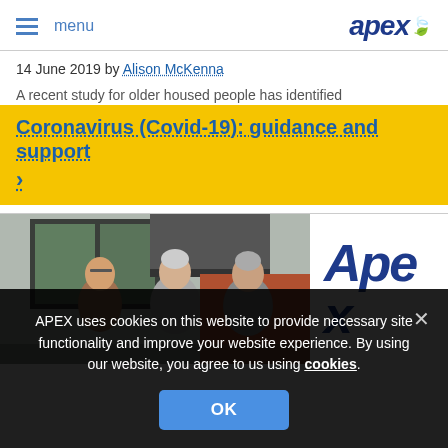menu | apex
14 June 2019 by Alison McKenna
A recent study for older housed people has identified
Coronavirus (Covid-19): guidance and support >
[Figure (photo): Photo of three people (two women and one man) in a modern kitchen with large windows, alongside the Apex logo text]
APEX uses cookies on this website to provide necessary site functionality and improve your website experience. By using our website, you agree to us using cookies.
OK